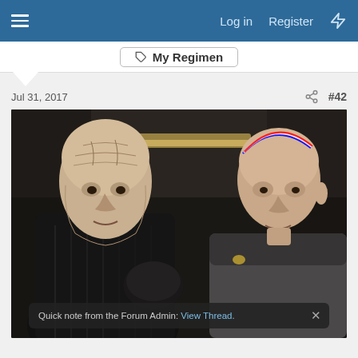Log in  Register
My Regimen
Jul 31, 2017   #42
[Figure (photo): Movie still showing two bald men facing each other. One man on the left wears dark armored clothing, the other on the right wears a grey Star Trek uniform. A colored arc (red/blue/white) is drawn over the right man's head.]
Quick note from the Forum Admin: View Thread.